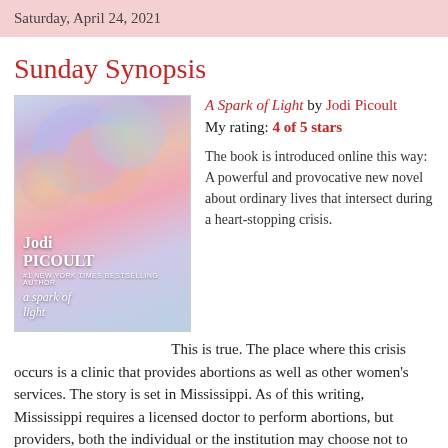Saturday, April 24, 2021
Sunday Synopsis
[Figure (illustration): Book cover of 'A Spark of Light' by Jodi Picoult — colorful abstract watercolor blobs in pink, blue, purple and gold tones with author name and title text in white.]
A Spark of Light by Jodi Picoult
My rating: 4 of 5 stars

The book is introduced online this way: A powerful and provocative new novel about ordinary lives that intersect during a heart-stopping crisis.

This is true. The place where this crisis occurs is a clinic that provides abortions as well as other women's services. The story is set in Mississippi. As of this writing, Mississippi requires a licensed doctor to perform abortions, but providers, both the individual or the institution may choose not to participate. Counseling for the pregnant woman is mandatory, as is parental consent, lab work, and an ultrasound in which the mother may choose whether or not to hear the baby's heartbeat. A woman must wait 24 hours after counseling to have the procedure